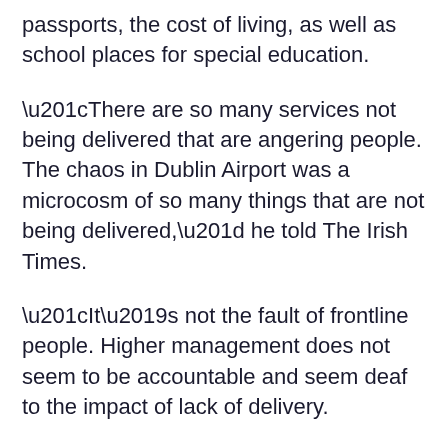passports, the cost of living, as well as school places for special education.
“There are so many services not being delivered that are angering people. The chaos in Dublin Airport was a microcosm of so many things that are not being delivered,” he told The Irish Times.
“It’s not the fault of frontline people. Higher management does not seem to be accountable and seem deaf to the impact of lack of delivery.
“It is the politicians and the frontline staff who get the blame even though, for example, we have been calling for something to be done about passports every week for many, many